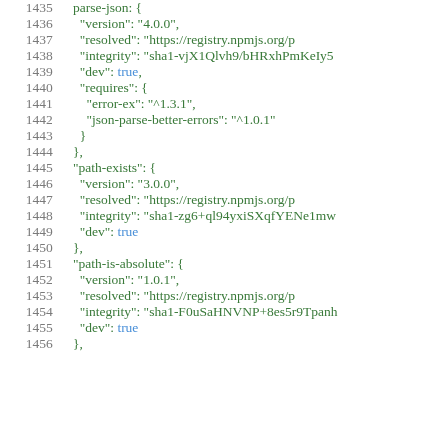Code snippet showing JSON package-lock.json entries for parse-json, path-exists, and path-is-absolute packages, lines 1435-1456